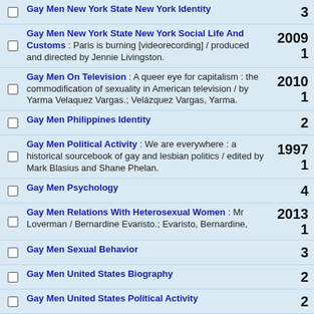Gay Men New York State New York Identity
Gay Men New York State New York Social Life And Customs : Paris is burning [videorecording] / produced and directed by Jennie Livingston.
Gay Men On Television : A queer eye for capitalism : the commodification of sexuality in American television / by Yarma Velaquez Vargas.; Velázquez Vargas, Yarma.
Gay Men Philippines Identity
Gay Men Political Activity : We are everywhere : a historical sourcebook of gay and lesbian politics / edited by Mark Blasius and Shane Phelan.
Gay Men Psychology
Gay Men Relations With Heterosexual Women : Mr Loverman / Bernardine Evaristo.; Evaristo, Bernardine,
Gay Men Sexual Behavior
Gay Men United States Biography
Gay Men United States Political Activity
Gay Men United States Psychology
Gay Men United States Social Conditions